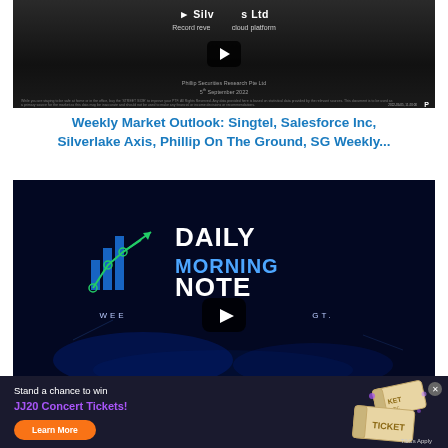[Figure (screenshot): Video thumbnail showing a financial research report for Silverlake Axis Ltd with play button overlay, Phillip Securities Research branding, dated 5th September 2022]
Weekly Market Outlook: Singtel, Salesforce Inc, Silverlake Axis, Phillip On The Ground, SG Weekly...
[Figure (screenshot): Video thumbnail for Daily Morning Note showing chart icon with blue bar graph and trend lines, title 'DAILY MORNING NOTE' in large white/blue text, subtitle 'WEE...GT.' with dark blue glowing background and play button overlay]
Stand a chance to win
JJ20 Concert Tickets!
Learn More
T&Cs Apply